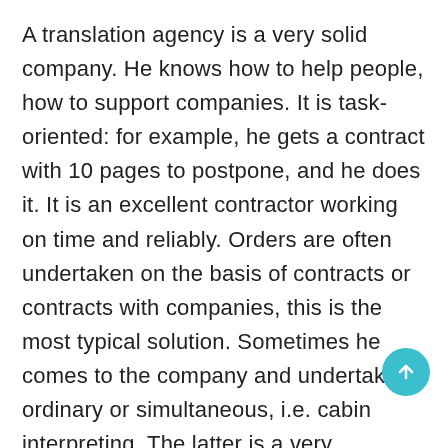A translation agency is a very solid company. He knows how to help people, how to support companies. It is task-oriented: for example, he gets a contract with 10 pages to postpone, and he does it. It is an excellent contractor working on time and reliably. Orders are often undertaken on the basis of contracts or contracts with companies, this is the most typical solution. Sometimes he comes to the company and undertakes ordinary or simultaneous, i.e. cabin interpreting. The latter is a very complicated and professional operation that all people know about. Sometimes whispered interpretations are made, in the ear, for one, two or more people during meetings, conferences or seminars. If the quality of the translation is not appropriate, the client advertises its quality.The company may then charge contractual penalties on the basis of a cooperation contract. It is definitely worth